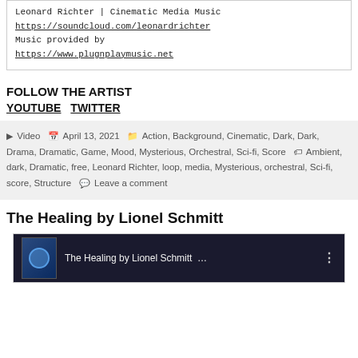Leonard Richter | Cinematic Media Music
https://soundcloud.com/leonardrichter
Music provided by
https://www.plugnplaymusic.net
FOLLOW THE ARTIST
YOUTUBE  TWITTER
Posted in Video  April 13, 2021  Categories: Action, Background, Cinematic, Dark, Dark, Drama, Dramatic, Game, Mood, Mysterious, Orchestral, Sci-fi, Score  Tags: Ambient, dark, Dramatic, free, Leonard Richter, loop, media, Mysterious, orchestral, Sci-fi, score, Structure  Leave a comment
The Healing by Lionel Schmitt
[Figure (screenshot): YouTube video thumbnail for 'The Healing by Lionel Schmitt' showing dark blue background with circular emblem and video title text]